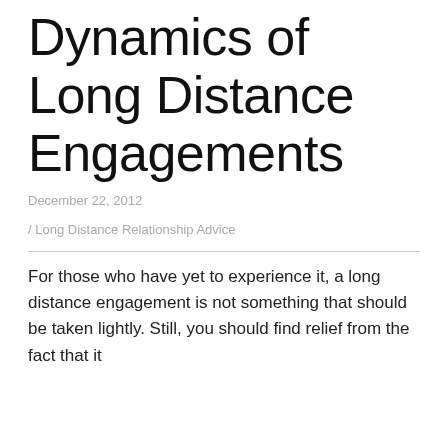Dynamics of Long Distance Engagements
December 22, 2012
/ Long Distance Relationship Advice
For those who have yet to experience it, a long distance engagement is not something that should be taken lightly. Still, you should find relief from the fact that it